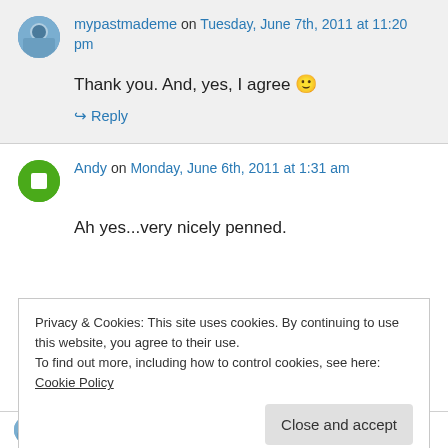mypastmademe on Tuesday, June 7th, 2011 at 11:20 pm
Thank you. And, yes, I agree 🙂
↪ Reply
Andy on Monday, June 6th, 2011 at 1:31 am
Ah yes...very nicely penned.
Privacy & Cookies: This site uses cookies. By continuing to use this website, you agree to their use.
To find out more, including how to control cookies, see here: Cookie Policy
Close and accept
mypastmademe on Tuesday, June 7th, 2011 at